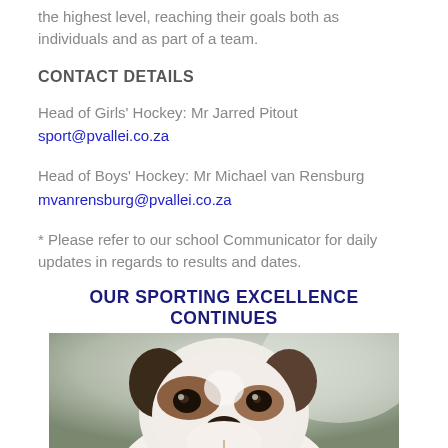the highest level, reaching their goals both as individuals and as part of a team.
CONTACT DETAILS
Head of Girls' Hockey: Mr Jarred Pitout
sport@pvallei.co.za
Head of Boys' Hockey: Mr Michael van Rensburg
mvanrensburg@pvallei.co.za
* Please refer to our school Communicator for daily updates in regards to results and dates.
OUR SPORTING EXCELLENCE CONTINUES
[Figure (photo): Close-up photo of a dog (appears to be a Boston Terrier or similar breed) looking at the camera, with white and brown/black markings.]